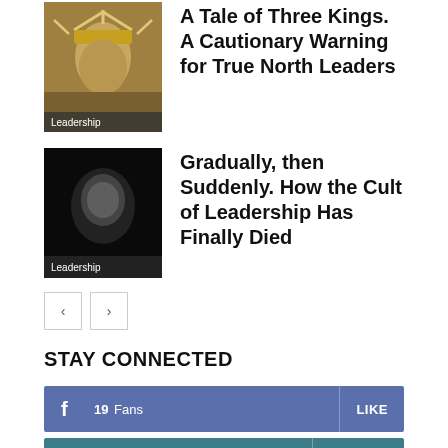[Figure (photo): Photo of a crowned king statue with golden spikes, overlaid with 'Leadership' label]
A Tale of Three Kings. A Cautionary Warning for True North Leaders
[Figure (photo): Dark photo of a shadowy face, overlaid with 'Leadership' label]
Gradually, then Suddenly. How the Cult of Leadership Has Finally Died
< >  (pagination buttons)
STAY CONNECTED
19 Fans   LIKE  (Facebook)
1 Followers   FOLLOW  (Instagram)
0 Followers   FOLLOW  (Twitter)